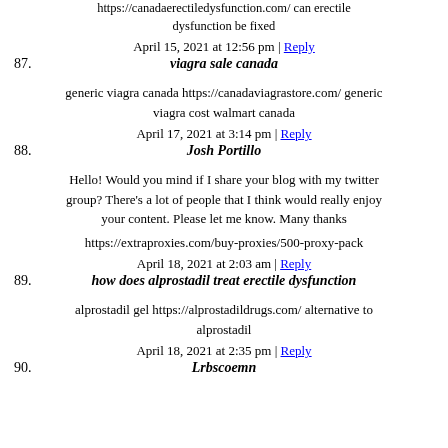https://canadaerectiledysfunction.com/ can erectile dysfunction be fixed
April 15, 2021 at 12:56 pm | Reply
87. viagra sale canada
generic viagra canada https://canadaviagrastore.com/ generic viagra cost walmart canada
April 17, 2021 at 3:14 pm | Reply
88. Josh Portillo
Hello! Would you mind if I share your blog with my twitter group? There's a lot of people that I think would really enjoy your content. Please let me know. Many thanks
https://extraproxies.com/buy-proxies/500-proxy-pack
April 18, 2021 at 2:03 am | Reply
89. how does alprostadil treat erectile dysfunction
alprostadil gel https://alprostadildrugs.com/ alternative to alprostadil
April 18, 2021 at 2:35 pm | Reply
90. Lrbscoemn